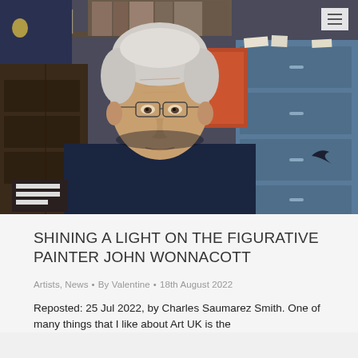[Figure (illustration): Painted portrait of an elderly man with white/grey hair and glasses, wearing a dark navy shirt, seated in front of a cluttered studio background with blue filing drawers, shelves with items, and dark furniture. The style is realistic oil painting.]
SHINING A LIGHT ON THE FIGURATIVE PAINTER JOHN WONNACOTT
Artists, News • By Valentine • 18th August 2022
Reposted: 25 Jul 2022, by Charles Saumarez Smith. One of many things that I like about Art UK is the